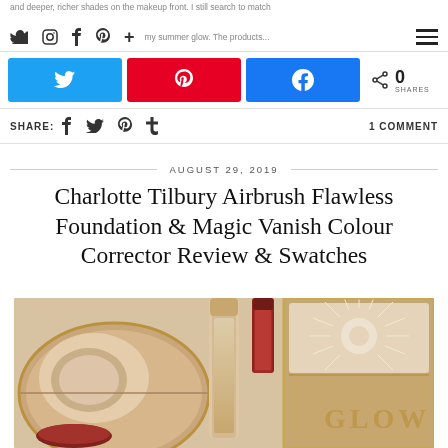and deeper, richer shades on the makeup front. I still search to match my summer glow. The products...
[Figure (infographic): Social share buttons: Twitter (blue), Pinterest (red), Facebook (blue), and share count showing 0 SHARES]
SHARE:  1 COMMENT
AUGUST 29, 2019
Charlotte Tilbury Airbrush Flawless Foundation & Magic Vanish Colour Corrector Review & Swatches
[Figure (photo): Photo of Charlotte Tilbury makeup products including compacts, foundation bottle, and palettes arranged on a light surface]